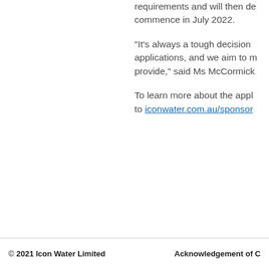requirements and will then de… commence in July 2022.
“It’s always a tough decision … applications, and we aim to m… provide,” said Ms McCormick…
To learn more about the appl… to iconwater.com.au/sponso…
© 2021 Icon Water Limited    Acknowledgement of C…